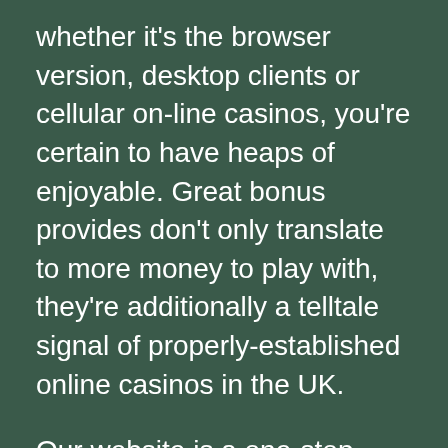whether it's the browser version, desktop clients or cellular on-line casinos, you're certain to have heaps of enjoyable. Great bonus provides don't only translate to more money to play with, they're additionally a telltale signal of properly-established online casinos in the UK.
Our website is a one-stop-shop for all the data you can ever want about online casinos within the UK. That's why you possibly can trust what we are saying about the most effective online casinos — as a result of we evaluate how good we expect a on line casino is to use